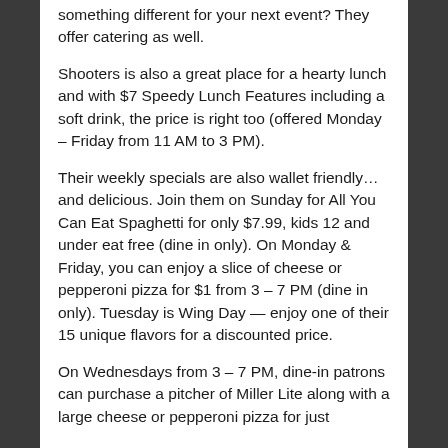something different for your next event? They offer catering as well.
Shooters is also a great place for a hearty lunch and with $7 Speedy Lunch Features including a soft drink, the price is right too (offered Monday – Friday from 11 AM to 3 PM).
Their weekly specials are also wallet friendly… and delicious. Join them on Sunday for All You Can Eat Spaghetti for only $7.99, kids 12 and under eat free (dine in only). On Monday & Friday, you can enjoy a slice of cheese or pepperoni pizza for $1 from 3 – 7 PM (dine in only). Tuesday is Wing Day — enjoy one of their 15 unique flavors for a discounted price.
On Wednesdays from 3 – 7 PM, dine-in patrons can purchase a pitcher of Miller Lite along with a large cheese or pepperoni pizza for just